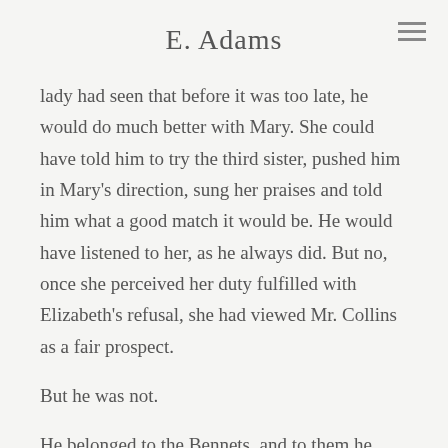E. Adams
lady had seen that before it was too late, he would do much better with Mary. She could have told him to try the third sister, pushed him in Mary's direction, sung her praises and told him what a good match it would be. He would have listened to her, as he always did. But no, once she perceived her duty fulfilled with Elizabeth's refusal, she had viewed Mr. Collins as a fair prospect.
But he was not.
He belonged to the Bennets, and to them he returned. She was naught but a poacher. And Mary knew it. Apparently, so did most of Meryton.